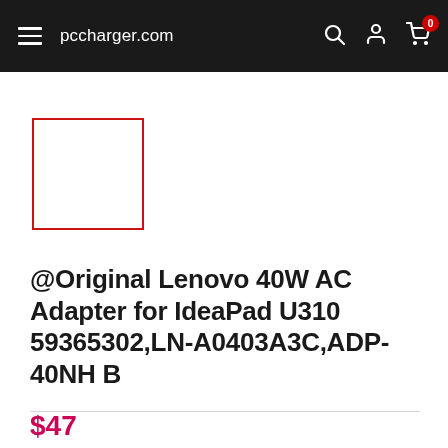pccharger.com
[Figure (photo): Small product thumbnail placeholder box with red border]
@Original Lenovo 40W AC Adapter for IdeaPad U310 59365302,LN-A0403A3C,ADP-40NH B
$47.00